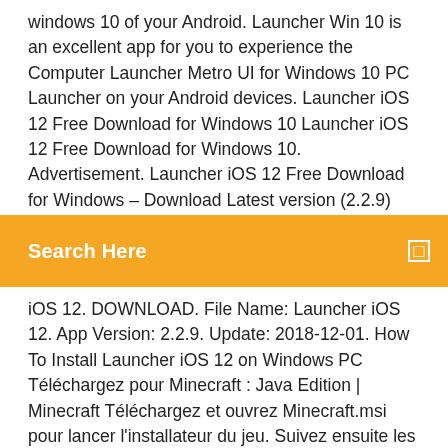windows 10 of your Android. Launcher Win 10 is an excellent app for you to experience the Computer Launcher Metro UI for Windows 10 PC Launcher on your Android devices. Launcher iOS 12 Free Download for Windows 10 Launcher iOS 12 Free Download for Windows 10. Advertisement. Launcher iOS 12 Free Download for Windows – Download Latest version (2.2.9)
Search Here
iOS 12. DOWNLOAD. File Name: Launcher iOS 12. App Version: 2.2.9. Update: 2018-12-01. How To Install Launcher iOS 12 on Windows PC Téléchargez pour Minecraft : Java Edition | Minecraft Téléchargez et ouvrez Minecraft.msi pour lancer l'installateur du jeu. Suivez ensuite les instructions de l'installateur. Vous aurez besoin d'une connexion Internet la première fois que vous lancerez le jeu, mais après cela, vous pourrez jouer hors ligne sans aucun problème. Download Epic Games Launcher (64/32 bit) for … 04/12/2019 · After you have